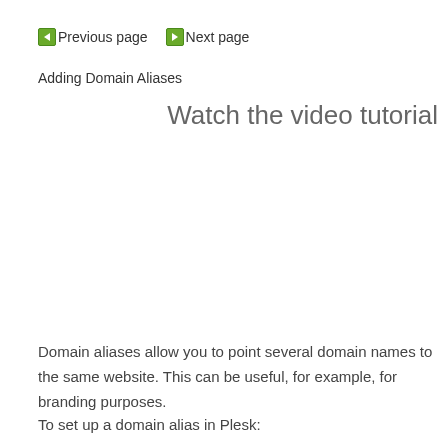◄ Previous page ► Next page
Adding Domain Aliases
Watch the video tutorial
[Figure (other): Video tutorial placeholder area (blank white space)]
Domain aliases allow you to point several domain names to the same website. This can be useful, for example, for branding purposes.
To set up a domain alias in Plesk: